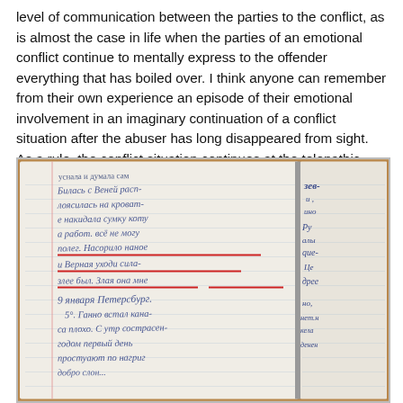level of communication between the parties to the conflict, as is almost the case in life when the parties of an emotional conflict continue to mentally express to the offender everything that has boiled over. I think anyone can remember from their own experience an episode of their emotional involvement in an imaginary continuation of a conflict situation after the abuser has long disappeared from sight. As a rule, the conflict situation continues at the telepathic level of communication until it energetically disrupts itself in one way or another.
[Figure (photo): A photograph of an open handwritten notebook with cursive Russian text. Some lines are underlined in red. The notebook pages are lined and the handwriting is in blue ink.]